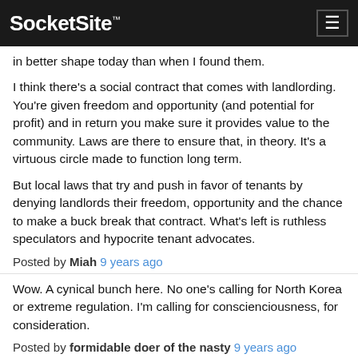SocketSite™
in better shape today than when I found them.
I think there's a social contract that comes with landlording. You're given freedom and opportunity (and potential for profit) and in return you make sure it provides value to the community. Laws are there to ensure that, in theory. It's a virtuous circle made to function long term.
But local laws that try and push in favor of tenants by denying landlords their freedom, opportunity and the chance to make a buck break that contract. What's left is ruthless speculators and hypocrite tenant advocates.
Posted by Miah 9 years ago
Wow. A cynical bunch here. No one's calling for North Korea or extreme regulation. I'm calling for conscienciousness, for consideration.
Posted by formidable doer of the nasty 9 years ago
People who invested in property in SF and paid taxes for many years are evil. They shouldn't be making money, they should just be thankful for the fact that...